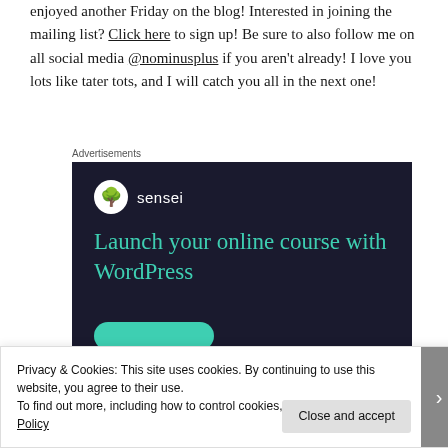enjoyed another Friday on the blog! Interested in joining the mailing list? Click here to sign up! Be sure to also follow me on all social media @nominusplus if you aren't already! I love you lots like tater tots, and I will catch you all in the next one!
Advertisements
[Figure (other): Sensei advertisement: dark navy background with Sensei logo (tree icon in white circle), text 'Launch your online course with WordPress' in teal, and a teal rounded button at the bottom.]
Privacy & Cookies: This site uses cookies. By continuing to use this website, you agree to their use.
To find out more, including how to control cookies, see here: Cookie Policy